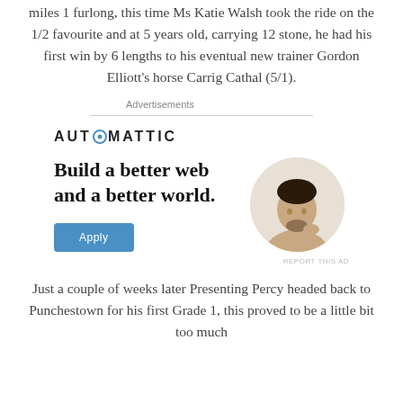miles 1 furlong, this time Ms Katie Walsh took the ride on the 1/2 favourite and at 5 years old, carrying 12 stone, he had his first win by 6 lengths to his eventual new trainer Gordon Elliott's horse Carrig Cathal (5/1).
Advertisements
[Figure (infographic): Automattic advertisement: logo with 'AUTOMATTIC' text, headline 'Build a better web and a better world.', an Apply button, and a circular photo of a person thinking.]
Just a couple of weeks later Presenting Percy headed back to Punchestown for his first Grade 1, this proved to be a little bit too much